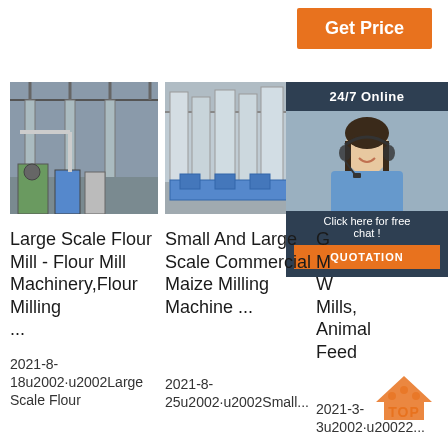Get Price
[Figure (photo): Industrial flour mill machinery interior]
[Figure (photo): Small and large scale commercial maize milling machines]
[Figure (photo): Customer service agent with headset - 24/7 Online support chat overlay]
Large Scale Flour Mill - Flour Mill Machinery,Flour Milling ...
Small And Large Scale Commercial Maize Milling Machine ...
Grain Milling Machines, Wheat Mills, Animal Feed ...
2021-8-18u2002·u2002Large Scale Flour
2021-8-25u2002·u2002Small...
2021-3-3u2002·u20022...